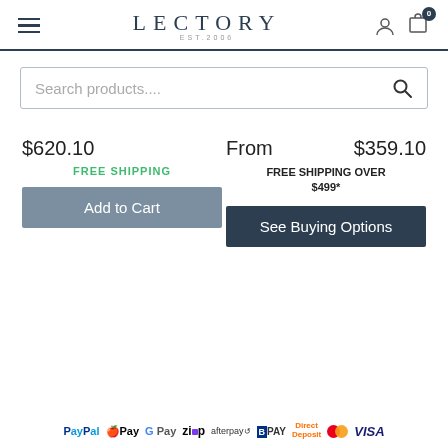LECTORY EST.2006
[Figure (screenshot): Search products input box with magnifying glass icon]
$620.10
FREE SHIPPING
From $359.10
FREE SHIPPING OVER $499*
Add to Cart
See Buying Options
[Figure (other): Payment method icons: PayPal, Apple Pay, Google Pay, Zip, Afterpay, BPAY, Direct Deposit, Mastercard, Visa]